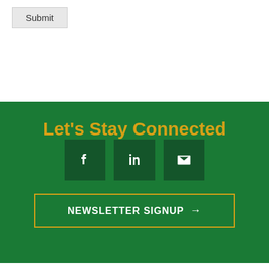Submit
Let's Stay Connected
[Figure (infographic): Social media icons: Facebook, LinkedIn, Email/envelope icons in dark green square boxes on green background]
NEWSLETTER SIGNUP →
[Figure (logo): The City of Medina Ohio logo with green arc swoosh and building/courthouse illustration]